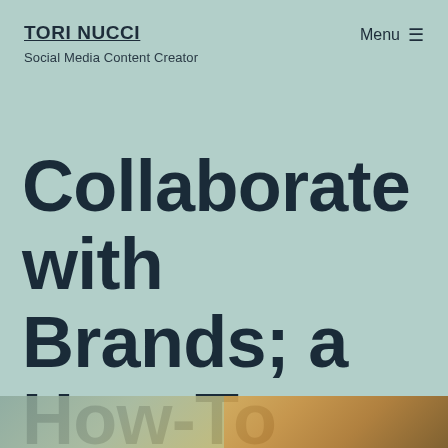TORI NUCCI
Social Media Content Creator
Menu ☰
Collaborate with Brands; a How-To Guide
[Figure (photo): Two partial photos visible at the bottom of the page, cropped — left appears to be a food/nature scene with green tones, right appears to be a warm-toned food or lifestyle photo with golden/brown hues.]